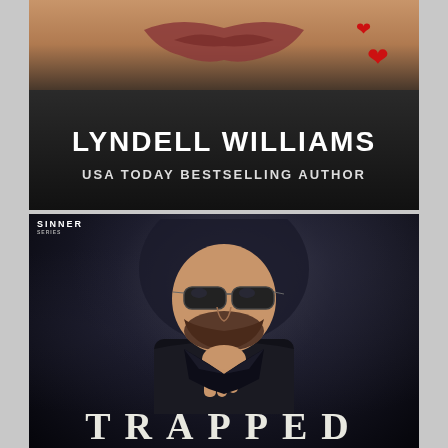[Figure (illustration): Top book cover showing close-up of person's lower face with red heart emojis, author name 'LYNDELL WILLIAMS' and 'USA TODAY BESTSELLING AUTHOR' on dark background]
[Figure (illustration): Bottom book cover 'TRAPPED' from the Sinner Series showing a man in sunglasses and leather jacket in a contemplative pose against a dark smoky background]